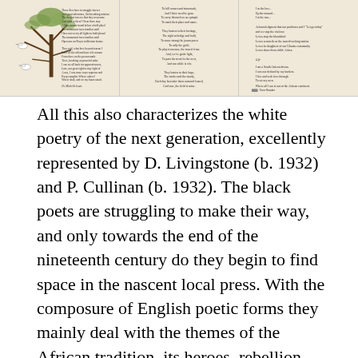[Figure (illustration): Three panels showing decorative illustrated poem pages with handwritten-style poetry text on aged beige/tan background. Left panel shows a tree with birds and a poem. Middle panel shows poem text. Right panel shows poem text with a small logo at bottom.]
All this also characterizes the white poetry of the next generation, excellently represented by D. Livingstone (b. 1932) and P. Cullinan (b. 1932). The black poets are struggling to make their way, and only towards the end of the nineteenth century do they begin to find space in the nascent local press. With the composure of English poetic forms they mainly deal with the themes of the African tradition, its heroes, rebellion and resistance against the colonizers. In this period we distinguish E. (Es'kia) Mphahlele (b.1919) and P. Abrahams (b.1919) better known as narrators, WMR Nhlane, resolute canter...